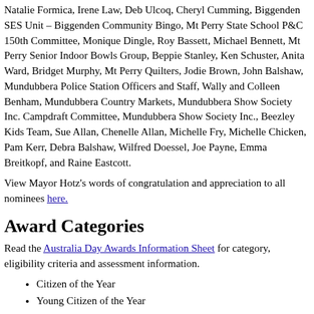Natalie Formica, Irene Law, Deb Ulcoq, Cheryl Cumming, Biggenden SES Unit – Biggenden Community Bingo, Mt Perry State School P&C 150th Committee, Monique Dingle, Roy Bassett, Michael Bennett, Mt Perry Senior Indoor Bowls Group, Beppie Stanley, Ken Schuster, Anita Ward, Bridget Murphy, Mt Perry Quilters, Jodie Brown, John Balshaw, Mundubbera Police Station Officers and Staff, Wally and Colleen Benham, Mundubbera Country Markets, Mundubbera Show Society Inc. Campdraft Committee, Mundubbera Show Society Inc., Beezley Kids Team, Sue Allan, Chenelle Allan, Michelle Fry, Michelle Chicken, Pam Kerr, Debra Balshaw, Wilfred Doessel, Joe Payne, Emma Breitkopf, and Raine Eastcott.
View Mayor Hotz's words of congratulation and appreciation to all nominees here.
Award Categories
Read the Australia Day Awards Information Sheet for category, eligibility criteria and assessment information.
Citizen of the Year
Young Citizen of the Year